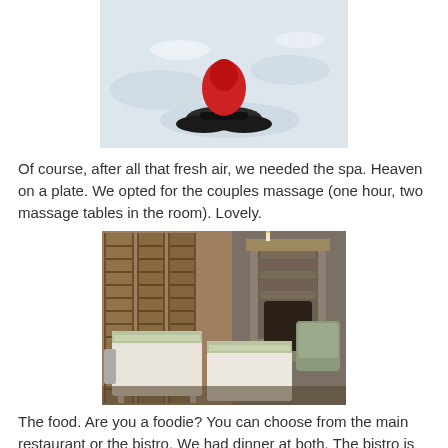[Figure (photo): Person in red jacket snowshoeing in snowy landscape, viewed from above]
Of course, after all that fresh air, we needed the spa. Heaven on a plate. We opted for the couples massage (one hour, two massage tables in the room). Lovely.
[Figure (photo): Spa room with two white massage tables, stone fireplace, wooden venetian blinds on large windows, and grey armchairs]
The food. Are you a foodie? You can choose from the main restaurant or the bistro. We had dinner at both. The bistro is more like pub food, with a band…goodtimes. The food in the restaurant is outstanding! Melt in your mouth delish…go for the three course option.
You know how I only tell you about my fav products and